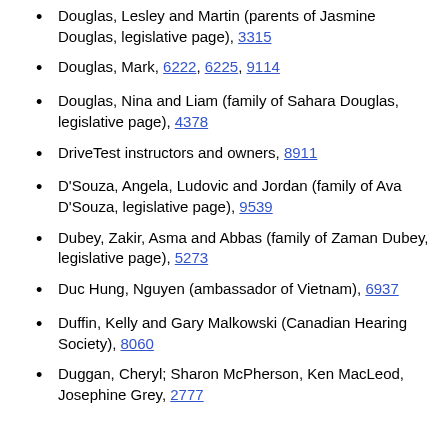Douglas, Lesley and Martin (parents of Jasmine Douglas, legislative page), 3315
Douglas, Mark, 6222, 6225, 9114
Douglas, Nina and Liam (family of Sahara Douglas, legislative page), 4378
DriveTest instructors and owners, 8911
D'Souza, Angela, Ludovic and Jordan (family of Ava D'Souza, legislative page), 9539
Dubey, Zakir, Asma and Abbas (family of Zaman Dubey, legislative page), 5273
Duc Hung, Nguyen (ambassador of Vietnam), 6937
Duffin, Kelly and Gary Malkowski (Canadian Hearing Society), 8060
Duggan, Cheryl; Sharon McPherson, Ken MacLeod, Josephine Grey, 2777